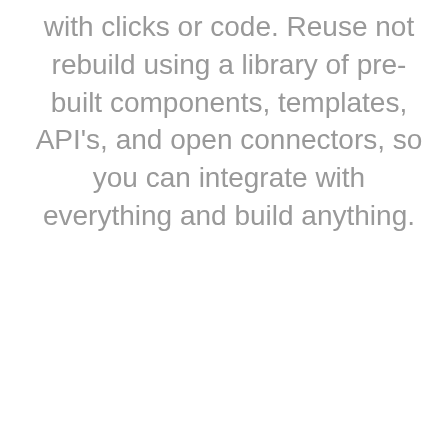with clicks or code. Reuse not rebuild using a library of pre-built components, templates, API's, and open connectors, so you can integrate with everything and build anything.